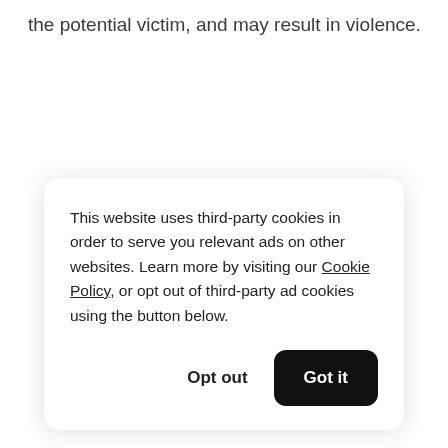the potential victim, and may result in violence.
This website uses third-party cookies in order to serve you relevant ads on other websites. Learn more by visiting our Cookie Policy, or opt out of third-party ad cookies using the button below.